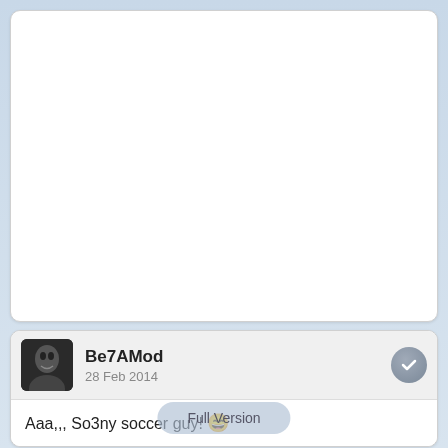[Figure (screenshot): White card area at top of screen (content area, blank)]
Be7AMod
28 Feb 2014
Aaa,,, So3ny soccer guy! 😄
Share [Facebook]
Share [Twitter]
Full Version